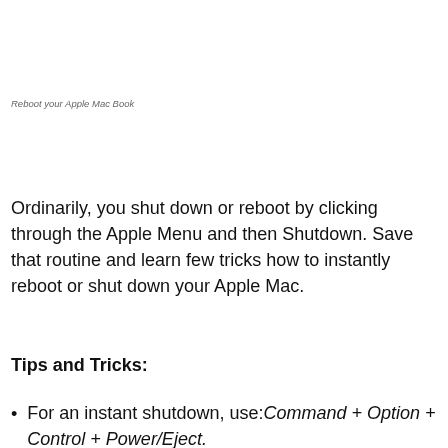Reboot your Apple Mac Book
Ordinarily, you shut down or reboot by clicking through the Apple Menu and then Shutdown.  Save that routine and learn few tricks how to instantly reboot or shut down your Apple Mac.
Tips and Tricks:
For an instant shutdown, use: Command + Option + Control + Power/Eject.